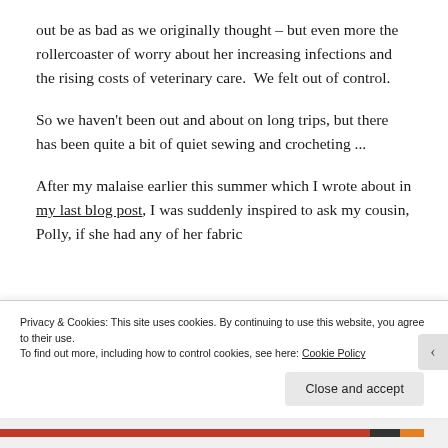out be as bad as we originally thought – but even more the rollercoaster of worry about her increasing infections and the rising costs of veterinary care.  We felt out of control.
So we haven't been out and about on long trips, but there has been quite a bit of quiet sewing and crocheting ...
After my malaise earlier this summer which I wrote about in my last blog post, I was suddenly inspired to ask my cousin, Polly, if she had any of her fabric
Privacy & Cookies: This site uses cookies. By continuing to use this website, you agree to their use.
To find out more, including how to control cookies, see here: Cookie Policy